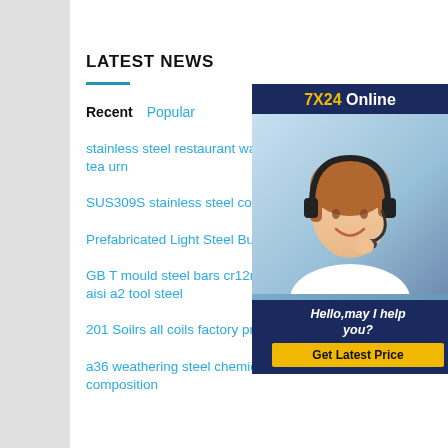LATEST NEWS
Recent   Popular
stainless steel restaurant water tea urn
SUS309S stainless steel coil 41
Prefabricated Light Steel Buildi
GB T mould steel bars cr12mov flat bar aisi a2 tool steel
201 Soilrs all coils factory price
a36 weathering steel chemical composition
[Figure (photo): Customer service representative with headset smiling, with '7X24 Online' header banner, 'Hello,may I help you?' text, and 'Get Latest Price' yellow button on dark navy blue background]